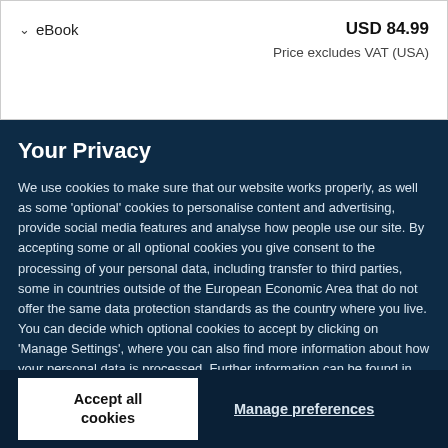eBook    USD 84.99
Price excludes VAT (USA)
Your Privacy
We use cookies to make sure that our website works properly, as well as some 'optional' cookies to personalise content and advertising, provide social media features and analyse how people use our site. By accepting some or all optional cookies you give consent to the processing of your personal data, including transfer to third parties, some in countries outside of the European Economic Area that do not offer the same data protection standards as the country where you live. You can decide which optional cookies to accept by clicking on 'Manage Settings', where you can also find more information about how your personal data is processed. Further information can be found in our privacy policy.
Accept all cookies
Manage preferences